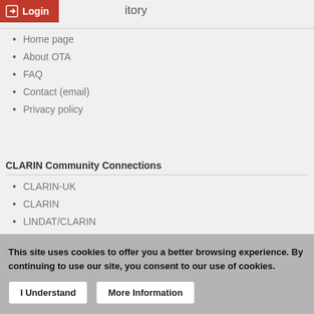Repository
Home page
About OTA
FAQ
Contact (email)
Privacy policy
CLARIN Community Connections
CLARIN-UK
CLARIN
LINDAT/CLARIN
Powered by CLARIN DSpace
This site uses cookies to offer you a better browsing experience. By continuing to use our site, you consent to our use of cookies.